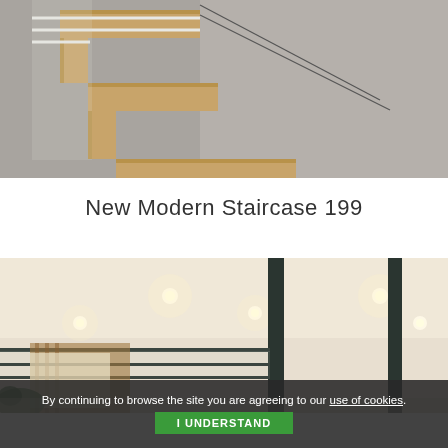[Figure (photo): Close-up photo of a modern floating staircase with wooden steps and glass/cable railing against a gray wall]
New Modern Staircase 199
[Figure (photo): Interior photo of a modern open space with recessed ceiling lights, dark metal columns, glass railing, and wood accents]
By continuing to browse the site you are agreeing to our use of cookies.
I UNDERSTAND